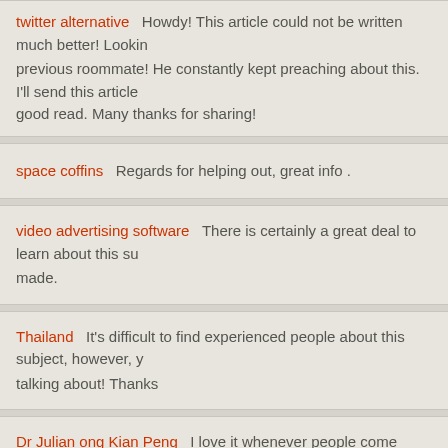twitter alternative  Howdy! This article could not be written much better! Looking previous roommate! He constantly kept preaching about this. I'll send this article good read. Many thanks for sharing!
space coffins  Regards for helping out, great info .
video advertising software  There is certainly a great deal to learn about this su made.
Thailand  It's difficult to find experienced people about this subject, however, y talking about! Thanks
Dr Julian ong Kian Peng  I love it whenever people come together and share v work!
Free Kinky Anime  I will immediately grab your rss as I can not to find youre...